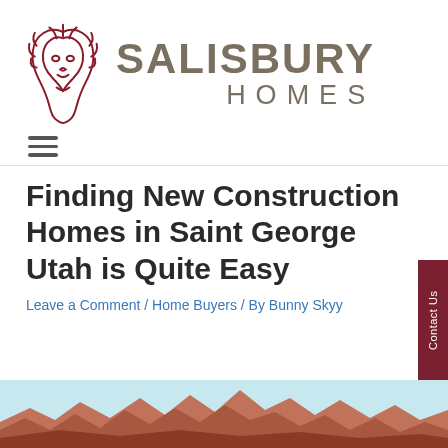[Figure (logo): Salisbury Homes logo with a dark red lion head illustration on the left and the text SALISBURY HOMES in taupe/brown on the right]
[Figure (other): Hamburger menu icon with three horizontal lines]
Finding New Construction Homes in Saint George Utah is Quite Easy
Leave a Comment / Home Buyers / By Bunny Skyy
[Figure (photo): Partial view of red rock mountains / desert landscape with a light blue sky, typical of Saint George Utah area]